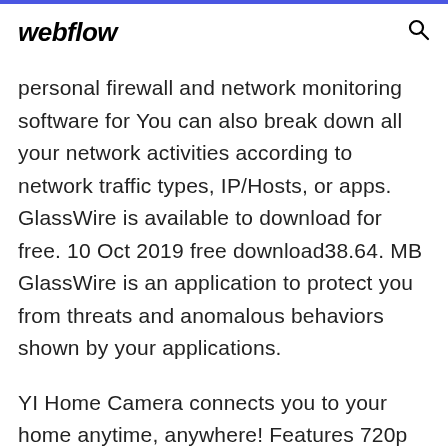webflow
personal firewall and network monitoring software for You can also break down all your network activities according to network traffic types, IP/Hosts, or apps. GlassWire is available to download for free. 10 Oct 2019 free download38.64. MB GlassWire is an application to protect you from threats and anomalous behaviors shown by your applications.
YI Home Camera connects you to your home anytime, anywhere! Features 720p HD resolution, 111° wide-angle lens, two-way audio, and activity alerts. Shop now! Learn how to make a Pandora-style glass bead bracelet. You'll